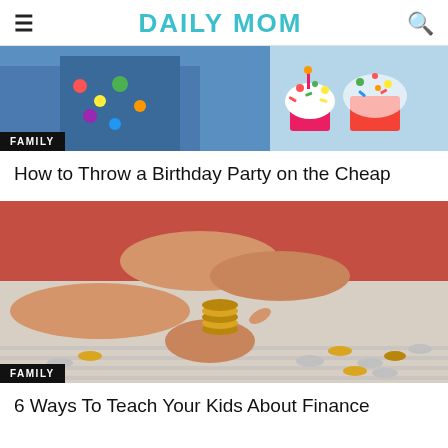DAILY MOM
[Figure (photo): Birthday party scene with colorful cupcakes and children in polka dot clothing]
FAMILY
How to Throw a Birthday Party on the Cheap
[Figure (photo): Child and adult hands counting coins on a striped tablecloth]
FAMILY
6 Ways To Teach Your Kids About Finance